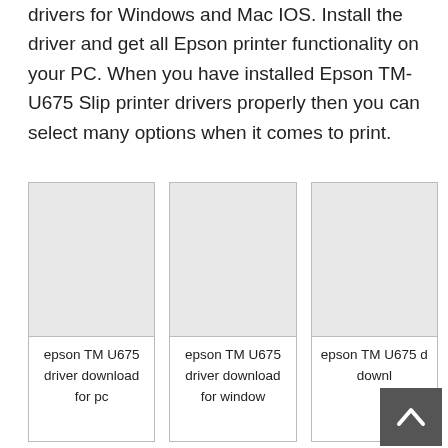drivers for Windows and Mac IOS. Install the driver and get all Epson printer functionality on your PC. When you have installed Epson TM-U675 Slip printer drivers properly then you can select many options when it comes to print.
[Figure (other): Card with gray image placeholder and label: epson TM U675 driver download for pc]
[Figure (other): Card with gray image placeholder and label: epson TM U675 driver download for window]
[Figure (other): Card with gray image placeholder and label: epson TM U675 d... downl... (partially obscured by back-to-top button)]